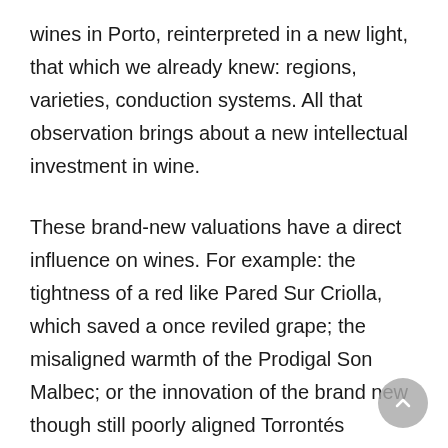wines in Porto, reinterpreted in a new light, that which we already knew: regions, varieties, conduction systems. All that observation brings about a new intellectual investment in wine.
These brand-new valuations have a direct influence on wines. For example: the tightness of a red like Pared Sur Criolla, which saved a once reviled grape; the misaligned warmth of the Prodigal Son Malbec; or the innovation of the brand new though still poorly aligned Torrontés Naranjos, which began todevelop in Argentina.
All this diffuse movement now takes an important